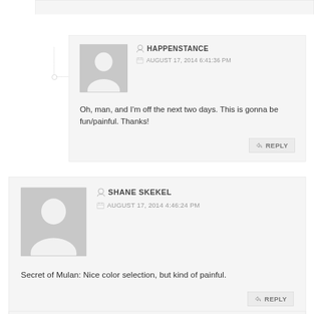HAPPENSTANCE — AUGUST 17, 2014 6:41:36 PM
Oh, man, and I'm off the next two days. This is gonna be fun/painful. Thanks!
SHANE SKEKEL — AUGUST 17, 2014 4:46:24 PM
Secret of Mulan: Nice color selection, but kind of painful.
NAT — AUGUST 17, 2014 8:05:17 PM